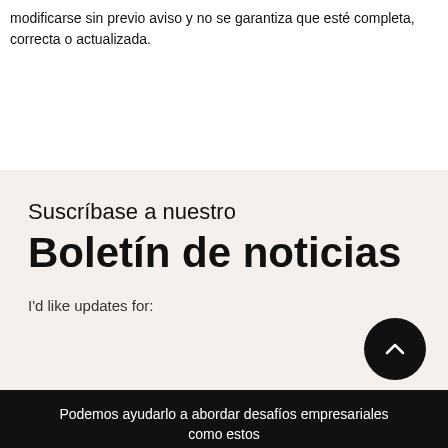modificarse sin previo aviso y no se garantiza que esté completa, correcta o actualizada.
Suscríbase a nuestro Boletín de noticias
I'd like updates for:
Podemos ayudarlo a abordar desafíos empresariales como estos
Contáctenos hoy mismo